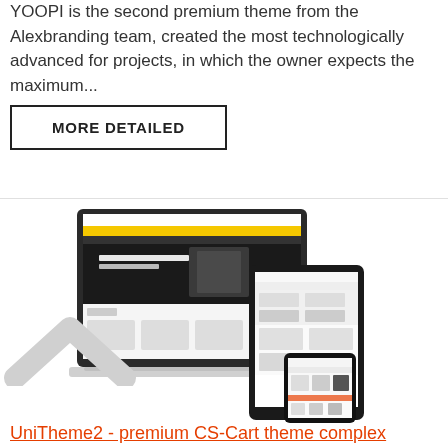YOOPI is the second premium theme from the Alexbranding team, created the most technologically advanced for projects, in which the owner expects the maximum...
MORE DETAILED
[Figure (screenshot): Screenshot of an e-commerce website (UniTheme) shown on a laptop, tablet, and smartphone displaying electronics and gaming accessories.]
[Figure (illustration): Light gray upward-pointing chevron/arrow icon.]
UniTheme2 - premium CS-Cart theme complex